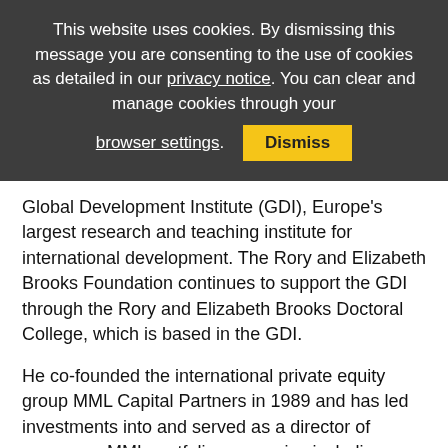This website uses cookies. By dismissing this message you are consenting to the use of cookies as detailed in our privacy notice. You can clear and manage cookies through your browser settings. [Dismiss]
Global Development Institute (GDI), Europe's largest research and teaching institute for international development. The Rory and Elizabeth Brooks Foundation continues to support the GDI through the Rory and Elizabeth Brooks Doctoral College, which is based in the GDI.
He co-founded the international private equity group MML Capital Partners in 1989 and has led investments into and served as a director of numerous MML portfolio companies including BPC, Ferembal, Sicli, Century Inns, Eurofarad, Polestar, Xtreme, GlobeOp and Hawkpoint.